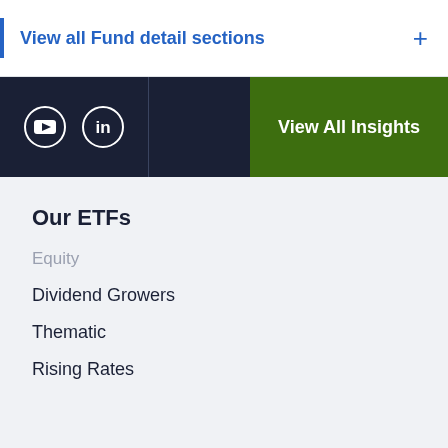View all Fund detail sections
[Figure (screenshot): Dark navigation bar with YouTube and LinkedIn social icons on the left, a vertical divider, and a green 'View All Insights' button on the right]
Our ETFs
Equity
Dividend Growers
Thematic
Rising Rates